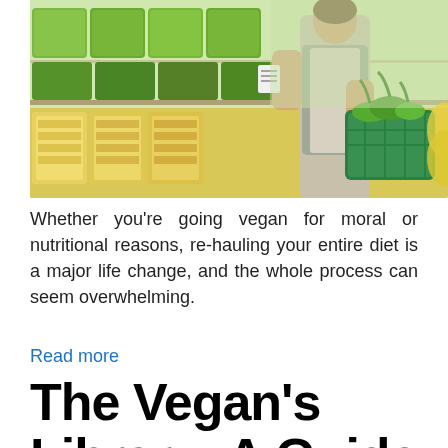[Figure (photo): A person shopping for vegetables in a grocery store, holding a list and carrying a green basket filled with fresh produce. Shelves behind show green leafy vegetables and yellow corn.]
Whether you're going vegan for moral or nutritional reasons, re-hauling your entire diet is a major life change, and the whole process can seem overwhelming.
Read more
The Vegan's Library: A Guide to the 10 Best Vegan